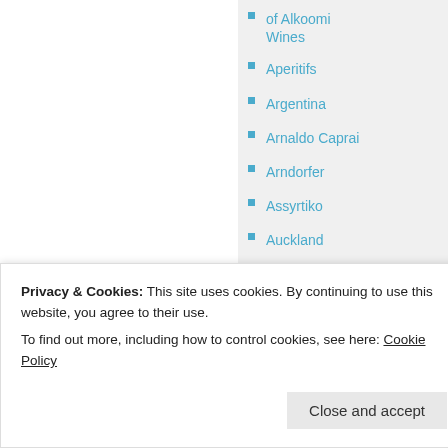of Alkoomi Wines
Aperitifs
Argentina
Arnaldo Caprai
Arndorfer
Assyrtiko
Auckland
Australia
Australia 2.0
Australian Riesling
Austria
Baxter
Privacy & Cookies: This site uses cookies. By continuing to use this website, you agree to their use.
To find out more, including how to control cookies, see here: Cookie Policy
Close and accept